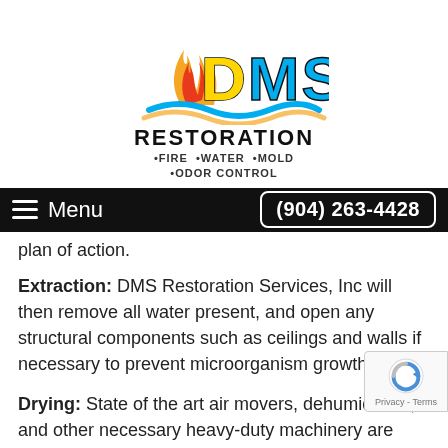[Figure (logo): DMS Restoration logo with flame, water wave, and colorful DMS lettering. Below: RESTORATION •FIRE •WATER •MOLD •ODOR CONTROL]
≡ Menu    (904) 263-4428
plan of action.
Extraction: DMS Restoration Services, Inc will then remove all water present, and open any structural components such as ceilings and walls if necessary to prevent microorganism growth.
Drying: State of the art air movers, dehumidifiers, and other necessary heavy-duty machinery are deployed dry all surfaces, including walls, ceilings, flooring, and carpets as quickly and thoroughly as possible.
Sanitizing: Contaminated surfaces are sanitized to remove toxins, especially when class 3 water is identified